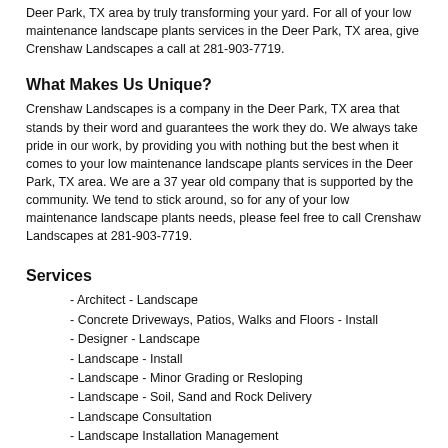Deer Park, TX area by truly transforming your yard. For all of your low maintenance landscape plants services in the Deer Park, TX area, give Crenshaw Landscapes a call at 281-903-7719.
What Makes Us Unique?
Crenshaw Landscapes is a company in the Deer Park, TX area that stands by their word and guarantees the work they do. We always take pride in our work, by providing you with nothing but the best when it comes to your low maintenance landscape plants services in the Deer Park, TX area. We are a 37 year old company that is supported by the community. We tend to stick around, so for any of your low maintenance landscape plants needs, please feel free to call Crenshaw Landscapes at 281-903-7719.
Services
- Architect - Landscape
- Concrete Driveways, Patios, Walks and Floors - Install
- Designer - Landscape
- Landscape - Install
- Landscape - Minor Grading or Resloping
- Landscape - Soil, Sand and Rock Delivery
- Landscape Consultation
- Landscape Installation Management